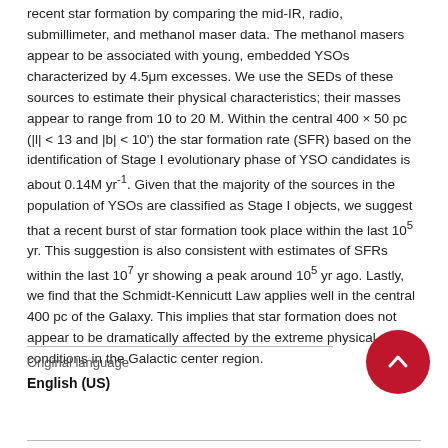recent star formation by comparing the mid-IR, radio, submillimeter, and methanol maser data. The methanol masers appear to be associated with young, embedded YSOs characterized by 4.5µm excesses. We use the SEDs of these sources to estimate their physical characteristics; their masses appear to range from 10 to 20 M. Within the central 400 × 50 pc (|l| < 13 and |b| < 10') the star formation rate (SFR) based on the identification of Stage I evolutionary phase of YSO candidates is about 0.14M yr⁻¹. Given that the majority of the sources in the population of YSOs are classified as Stage I objects, we suggest that a recent burst of star formation took place within the last 10⁵ yr. This suggestion is also consistent with estimates of SFRs within the last 10⁷ yr showing a peak around 10⁵ yr ago. Lastly, we find that the Schmidt-Kennicutt Law applies well in the central 400 pc of the Galaxy. This implies that star formation does not appear to be dramatically affected by the extreme physical conditions in the Galactic center region.
Original language
English (US)